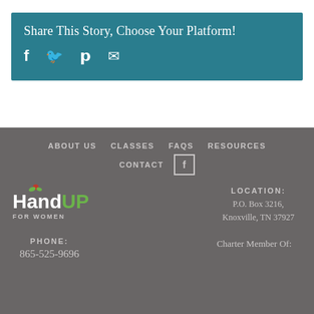Share This Story, Choose Your Platform!
[Figure (infographic): Social sharing icons: Facebook, Twitter, Pinterest, Email on teal background]
ABOUT US   CLASSES   FAQS   RESOURCES   CONTACT
[Figure (logo): HandUP FOR WOMEN logo with hand icon]
LOCATION:
P.O. Box 3216,
Knoxville, TN 37927
PHONE:
865-525-9696
Charter Member Of: